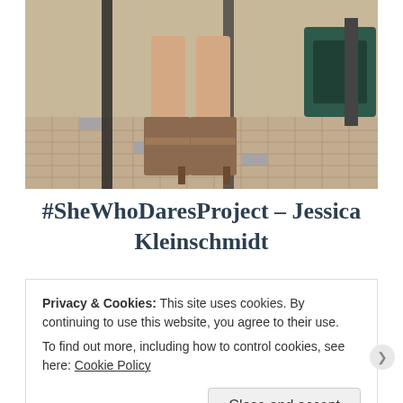[Figure (photo): Photo showing person's legs and feet wearing brown heeled boots, standing on a tiled floor near dark green airport/stadium seating]
#SheWhoDaresProject – Jessica Kleinschmidt
Posted on November 1, 2019
“I filled in for my little brothers baseball
Privacy & Cookies: This site uses cookies. By continuing to use this website, you agree to their use.
To find out more, including how to control cookies, see here: Cookie Policy